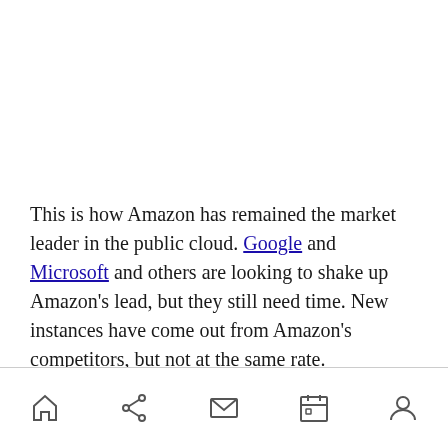This is how Amazon has remained the market leader in the public cloud. Google and Microsoft and others are looking to shake up Amazon's lead, but they still need time. New instances have come out from Amazon's competitors, but not at the same rate.
[home] [share] [mail] [calendar] [user]